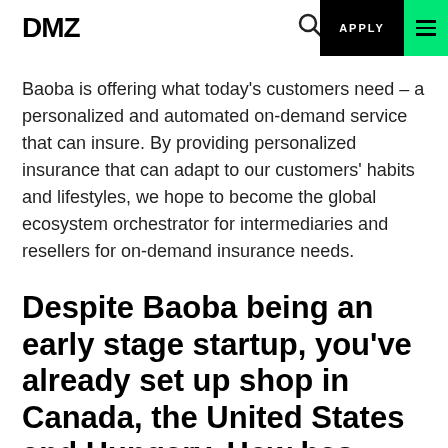DMZ | APPLY
Baoba is offering what today's customers need – a personalized and automated on-demand service that can insure. By providing personalized insurance that can adapt to our customers' habits and lifestyles, we hope to become the global ecosystem orchestrator for intermediaries and resellers for on-demand insurance needs.
Despite Baoba being an early stage startup, you've already set up shop in Canada, the United States and Hungary. How has your experience been working across global markets? How important